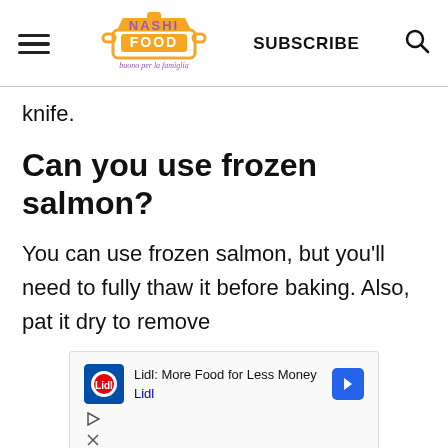NASHI FOOD | SUBSCRIBE
knife.
Can you use frozen salmon?
You can use frozen salmon, but you'll need to fully thaw it before baking. Also, pat it dry to remove
[Figure (other): Advertisement banner: Lidl: More Food for Less Money - Lidl logo with navigation arrow icon]